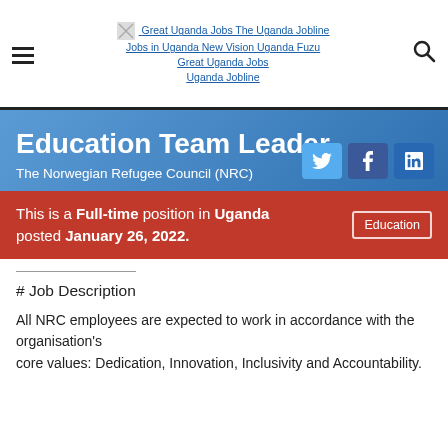Great Uganda Jobs The Uganda Jobline Jobs in Uganda New Vision Uganda Fuzu Great Uganda Jobs Uganda Jobline
Education Team Leader
The Norwegian Refugee Council (NRC)
This is a Full-time position in Uganda posted January 26, 2022.
# Job Description
All NRC employees are expected to work in accordance with the organisation's core values: Dedication, Innovation, Inclusivity and Accountability.